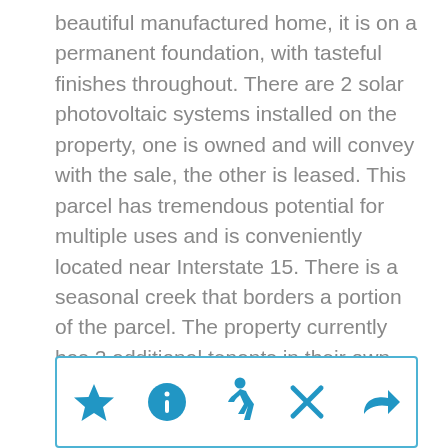beautiful manufactured home, it is on a permanent foundation, with tasteful finishes throughout. There are 2 solar photovoltaic systems installed on the property, one is owned and will convey with the sale, the other is leased. This parcel has tremendous potential for multiple uses and is conveniently located near Interstate 15. There is a seasonal creek that borders a portion of the parcel. The property currently has 2 additional tenants in their own trailers on the property that are month to month.
[Figure (other): Toolbar with 5 icons: star (favorite), info circle, walking person, X (close), and forward/share arrow — all in blue, inside a blue-bordered rectangle]